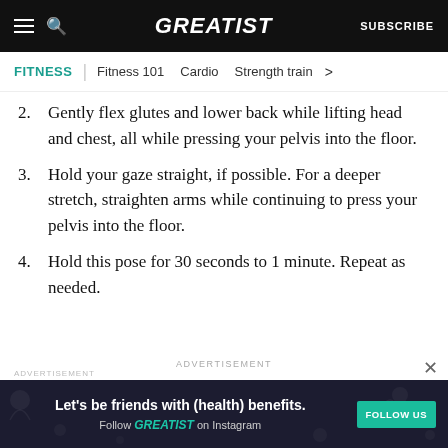GREATIST | SUBSCRIBE
FITNESS | Fitness 101   Cardio   Strength train >
2. Gently flex glutes and lower back while lifting head and chest, all while pressing your pelvis into the floor.
3. Hold your gaze straight, if possible. For a deeper stretch, straighten arms while continuing to press your pelvis into the floor.
4. Hold this pose for 30 seconds to 1 minute. Repeat as needed.
ADVERTISEMENT
ADVERTISEMENT
[Figure (other): Advertisement banner: Let's be friends with (health) benefits. Follow GREATIST on Instagram. FOLLOW US button.]